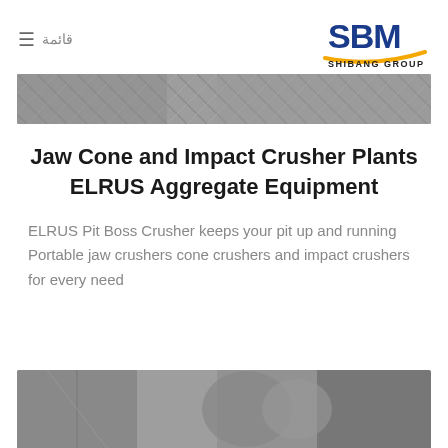قائمة  ☰  [SBM SHIBANG GROUP logo]
[Figure (photo): Industrial machinery/crusher equipment close-up photo at top of page]
Jaw Cone and Impact Crusher Plants ELRUS Aggregate Equipment
ELRUS Pit Boss Crusher keeps your pit up and running Portable jaw crushers cone crushers and impact crushers for every need
[Figure (photo): Industrial crusher/machinery equipment photo at bottom of page]